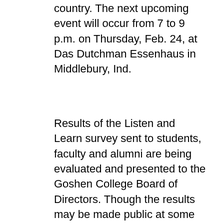country. The next upcoming event will occur from 7 to 9 p.m. on Thursday, Feb. 24, at Das Dutchman Essenhaus in Middlebury, Ind.
Results of the Listen and Learn survey sent to students, faculty and alumni are being evaluated and presented to the Goshen College Board of Directors. Though the results may be made public at some point of the Listen and Learn process, they are currently unreleased.
The feedback received through the Listen and Learn survey and the conversation events will contribute to a review of the anthem decision in June 2011. The steering